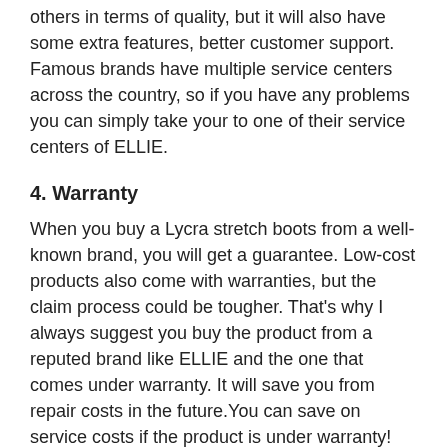others in terms of quality, but it will also have some extra features, better customer support. Famous brands have multiple service centers across the country, so if you have any problems you can simply take your to one of their service centers of ELLIE.
4. Warranty
When you buy a Lycra stretch boots from a well-known brand, you will get a guarantee. Low-cost products also come with warranties, but the claim process could be tougher. That's why I always suggest you buy the product from a reputed brand like ELLIE and the one that comes under warranty. It will save you from repair costs in the future.You can save on service costs if the product is under warranty!
4. Product Site
On our website we have experts in all categories and no matter what the question is, we have better service.